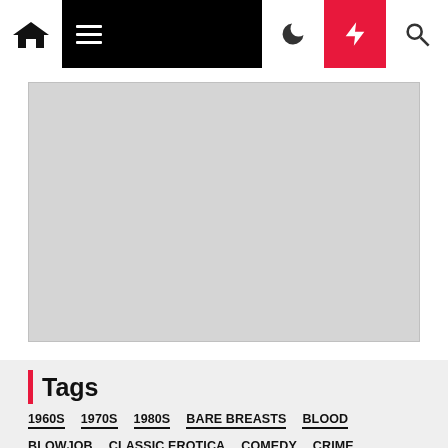Navigation bar with home, menu, dark mode, lightning, and search icons
[Figure (screenshot): Gray advertisement placeholder box]
Tags
1960S
1970S
1980S
BARE BREASTS
BLOOD
BLOWJOB
CLASSIC EROTICA
COMEDY
CRIME
CULT FILM
DRAMA
ENGLISH
EROTIC
EROTICA
EXPLOITATION
FEMALE NUDITY
GORE
HAIRY PUSSY
HARDCORE
HIGH DEFINITION
HORROR
ITALY
LESBIAN
LESBIANISM